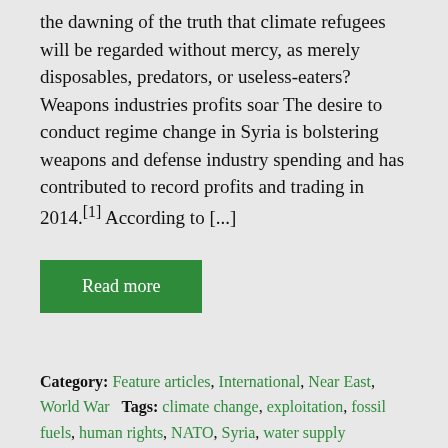the dawning of the truth that climate refugees will be regarded without mercy, as merely disposables, predators, or useless-eaters?  Weapons industries profits soar The desire to conduct regime change in Syria is bolstering weapons and defense industry spending and has contributed to record profits and trading in 2014.[1] According to [...]
Read more
Category: Feature articles, International, Near East, World War   Tags: climate change, exploitation, fossil fuels, human rights, NATO, Syria, water supply
Syria: Globalists Cold, Wet Dream (Part 1)